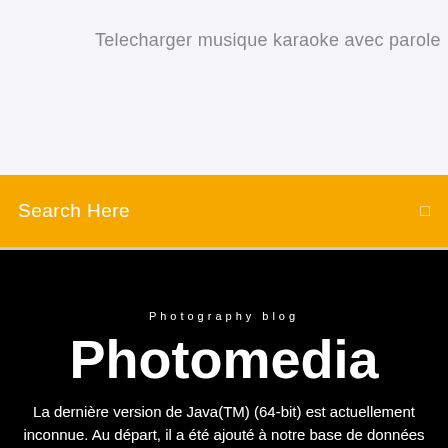Telecharger musique karaoke avec parole
Search Here
Photography blog
Photomedia
La dernière version de Java(TM) (64-bit) est actuellement inconnue. Au départ, il a été ajouté à notre base de données sur 04/08/2009 . Java(TM) (64-bit) s'exécute sur les